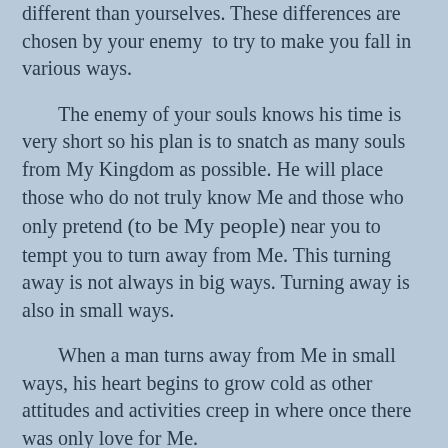different than yourselves. These differences are chosen by your enemy to try to make you fall in various ways.
The enemy of your souls knows his time is very short so his plan is to snatch as many souls from My Kingdom as possible. He will place those who do not truly know Me and those who only pretend (to be My people) near you to tempt you to turn away from Me. This turning away is not always in big ways. Turning away is also in small ways.
When a man turns away from Me in small ways, his heart begins to grow cold as other attitudes and activities creep in where once there was only love for Me.
This is an exceedingly dangerous time and I desire you would remain alert and diligent. Remove all from your life that hinder your walk with Me.
Revelation 3:10-12